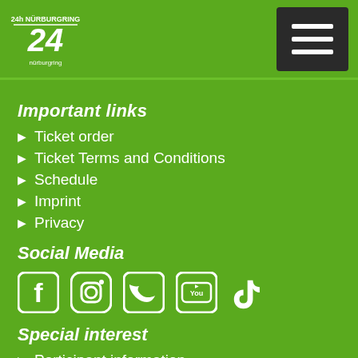24h Nürburgring logo and navigation menu
Important links
Ticket order
Ticket Terms and Conditions
Schedule
Imprint
Privacy
Social Media
[Figure (infographic): Social media icons: Facebook, Instagram, Twitter, YouTube, TikTok]
Special interest
Participant information
Media portal